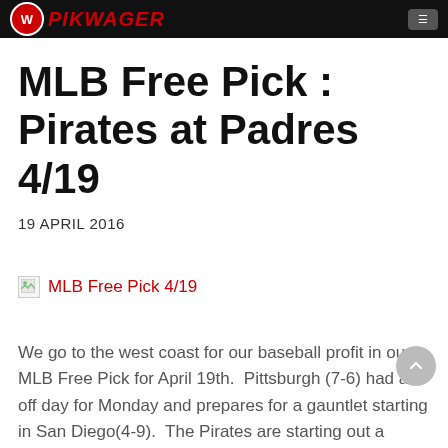PIKWAGER
MLB Free Pick : Pirates at Padres 4/19
19 APRIL 2016
[Figure (photo): Broken image placeholder with alt text 'MLB Free Pick 4/19']
We go to the west coast for our baseball profit in our MLB Free Pick for April 19th.  Pittsburgh (7-6) had an off day for Monday and prepares for a gauntlet starting in San Diego(4-9).  The Pirates are starting out a string of 16 straight days with a game.  What